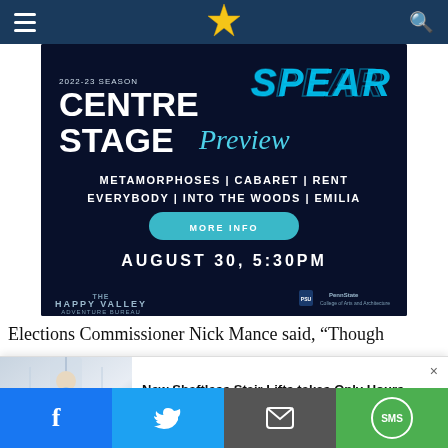Navigation bar with hamburger menu, logo, and search icon
[Figure (illustration): Advertisement for Centre Stage Preview 2022-23 Season featuring shows: Metamorphoses, Cabaret, Rent, Everybody, Into the Woods, Emilia. August 30, 5:30PM. Happy Valley Adventure Bureau and Penn State College of Arts and Architecture logos.]
Elections Commissioner Nick Mance said, “Though
[Figure (photo): Woman in light blue dress standing near glass doors or windows]
New Shaftless Stair Lifts takes Only Hours to Install - See How Much The...
Stair Lifts | Sponsored
Social share bar: Facebook, Twitter, Email, SMS